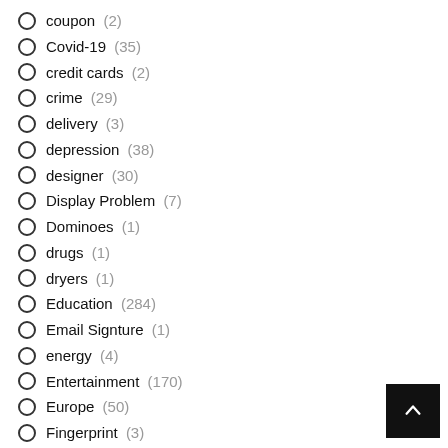coupon (2)
Covid-19 (35)
credit cards (2)
crime (29)
delivery (3)
depression (38)
designer (30)
Display Problem (7)
Dominoes (1)
drugs (1)
dryers (1)
Education (284)
Email Signture (1)
energy (4)
Entertainment (170)
Europe (50)
Fingerprint (3)
Firewall... (1)